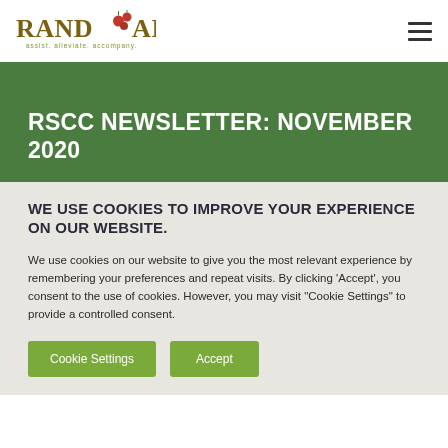Rand Aid — assist. alleviate. accompany.
RSCC NEWSLETTER: NOVEMBER 2020
WE USE COOKIES TO IMPROVE YOUR EXPERIENCE ON OUR WEBSITE.
We use cookies on our website to give you the most relevant experience by remembering your preferences and repeat visits. By clicking 'Accept', you consent to the use of cookies. However, you may visit "Cookie Settings" to provide a controlled consent.
Cookie Settings
Accept